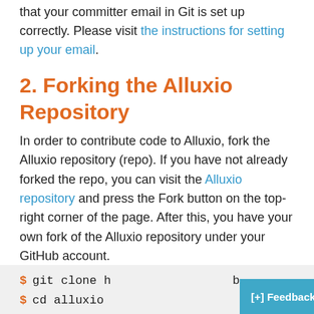that your committer email in Git is set up correctly. Please visit the instructions for setting up your email.
2. Forking the Alluxio Repository
In order to contribute code to Alluxio, fork the Alluxio repository (repo). If you have not already forked the repo, you can visit the Alluxio repository and press the Fork button on the top-right corner of the page. After this, you have your own fork of the Alluxio repository under your GitHub account.
Create a local clone of your fork to copy the files of your fork onto your computer. Clone your fork with this command:
$ git clone h b
$ cd alluxio